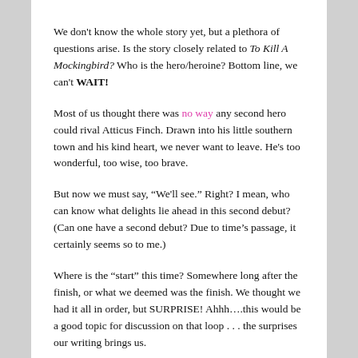We don't know the whole story yet, but a plethora of questions arise. Is the story closely related to To Kill A Mockingbird? Who is the hero/heroine? Bottom line, we can't WAIT!
Most of us thought there was no way any second hero could rival Atticus Finch. Drawn into his little southern town and his kind heart, we never want to leave. He's too wonderful, too wise, too brave.
But now we must say, “We'll see.” Right? I mean, who can know what delights lie ahead in this second debut? (Can one have a second debut? Due to time’s passage, it certainly seems so to me.)
Where is the “start” this time? Somewhere long after the finish, or what we deemed was the finish. We thought we had it all in order, but SURPRISE! Ahhh….this would be a good topic for discussion on that loop . . . the surprises our writing brings us.